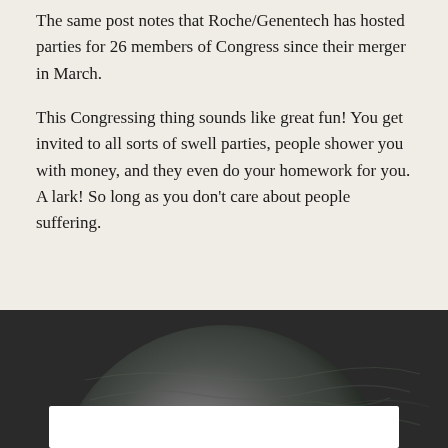The same post notes that Roche/Genentech has hosted parties for 26 members of Congress since their merger in March.
This Congressing thing sounds like great fun! You get invited to all sorts of swell parties, people shower you with money, and they even do your homework for you. A lark! So long as you don't care about people suffering.
[Figure (photo): A dark gray planet or moon photograph shown against a dark/black background, with the bottom portion of the sphere visible. A white rectangular box appears at the very bottom of the image.]